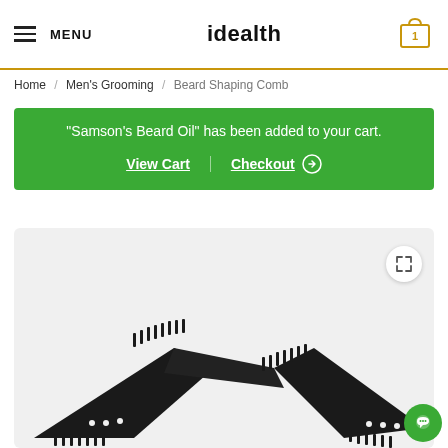MENU | idealth | cart: 1
Home / Men's Grooming / Beard Shaping Comb
“Samson’s Beard Oil” has been added to your cart. View Cart | Checkout
[Figure (photo): Black beard shaping comb tool photographed on light grey background, viewed from above at an angle, showing comb teeth on multiple edges and small holes.]